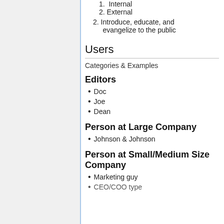1. Internal
2. External
2. Introduce, educate, and evangelize to the public
Users
Categories & Examples
Editors
Doc
Joe
Dean
Person at Large Company
Johnson & Johnson
Person at Small/Medium Size Company
Marketing guy
CEO/COO type